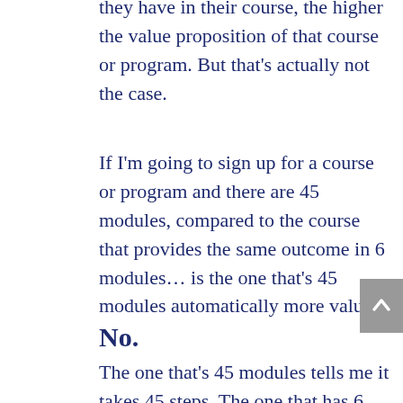They think that the more information they have in their course, the higher the value proposition of that course or program. But that's actually not the case.
If I'm going to sign up for a course or program and there are 45 modules, compared to the course that provides the same outcome in 6 modules… is the one that's 45 modules automatically more value?
No.
The one that's 45 modules tells me it takes 45 steps. The one that has 6 modules tells me there are 6 steps. If